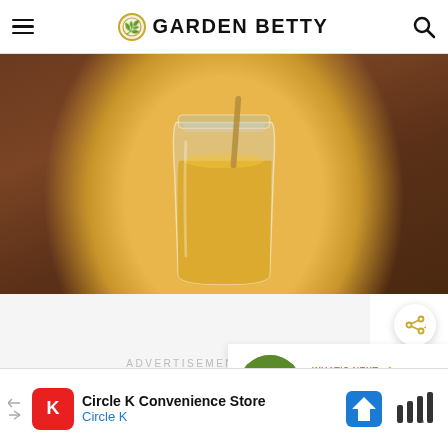GARDEN BETTY
[Figure (photo): Close-up photo of a mason jar filled with golden yellow liquid (likely homemade salad dressing or juice) viewed from above on a dark wooden surface, with a fork or utensil visible at the top.]
ADVERTISEMENT
WHAT'S NEXT → Caterpillar Identificatio...
Circle K Convenience Store
Circle K